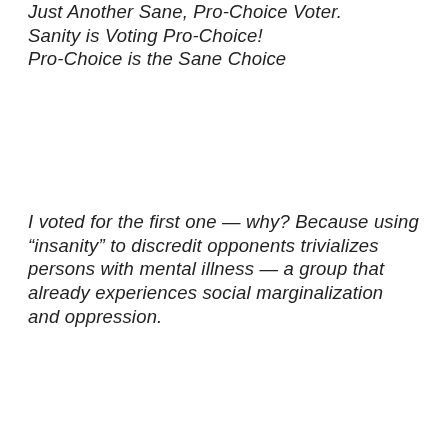Just Another Sane, Pro-Choice Voter.
Sanity is Voting Pro-Choice!
Pro-Choice is the Sane Choice
I voted for the first one — why? Because using “insanity” to discredit opponents trivializes persons with mental illness — a group that already experiences social marginalization and oppression.